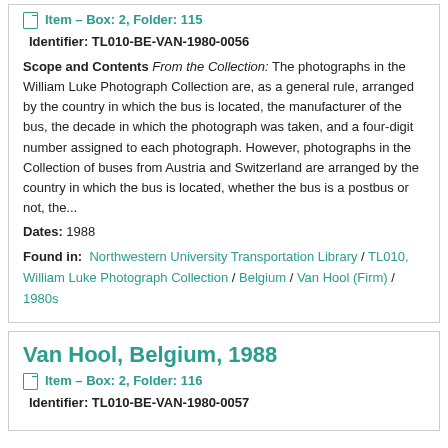Item – Box: 2, Folder: 115
Identifier: TL010-BE-VAN-1980-0056
Scope and Contents From the Collection: The photographs in the William Luke Photograph Collection are, as a general rule, arranged by the country in which the bus is located, the manufacturer of the bus, the decade in which the photograph was taken, and a four-digit number assigned to each photograph. However, photographs in the Collection of buses from Austria and Switzerland are arranged by the country in which the bus is located, whether the bus is a postbus or not, the...
Dates: 1988
Found in: Northwestern University Transportation Library / TL010, William Luke Photograph Collection / Belgium / Van Hool (Firm) / 1980s
Van Hool, Belgium, 1988
Item – Box: 2, Folder: 116
Identifier: TL010-BE-VAN-1980-0057